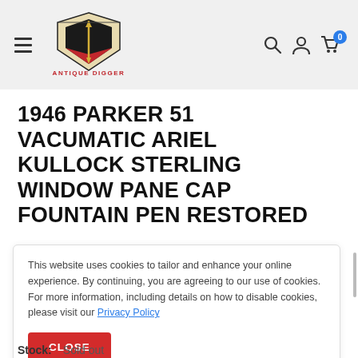[Figure (logo): Antique Digger logo — shield with shovel and pen, geometric red/cream/black design, text ANTIQUE DIGGER below]
1946 PARKER 51 VACUMATIC ARIEL KULLOCK STERLING WINDOW PANE CAP FOUNTAIN PEN RESTORED
This website uses cookies to tailor and enhance your online experience. By continuing, you are agreeing to our use of cookies. For more information, including details on how to disable cookies, please visit our Privacy Policy
CLOSE
Stock: Sold out